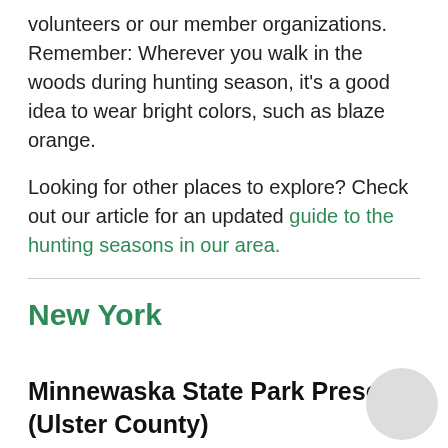volunteers or our member organizations. Remember: Wherever you walk in the woods during hunting season, it's a good idea to wear bright colors, such as blaze orange.
Looking for other places to explore? Check out our article for an updated guide to the hunting seasons in our area.
New York
Minnewaska State Park Preserve (Ulster County)